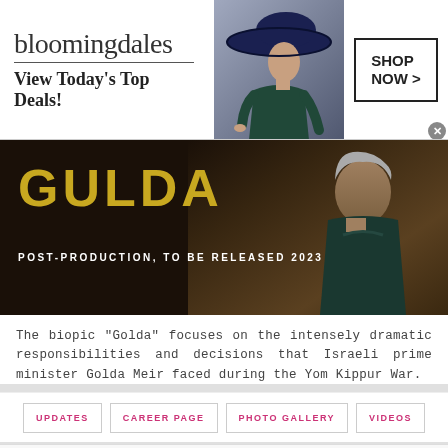[Figure (photo): Bloomingdales advertisement banner: logo text 'bloomingdales', tagline 'View Today's Top Deals!', woman in wide-brim hat, 'SHOP NOW >' button]
[Figure (photo): Gulda movie banner: golden title text 'GULDA' on dark background, subtitle 'POST-PRODUCTION, TO BE RELEASED 2023', moody portrait of an elderly woman in dark clothing]
The biopic "Golda" focuses on the intensely dramatic responsibilities and decisions that Israeli prime minister Golda Meir faced during the Yom Kippur War.
UPDATES
CAREER PAGE
PHOTO GALLERY
VIDEOS
[Figure (photo): Belk department store advertisement: logo 'BELK', tagline 'Denim all day.', URL 'www.belk.com', blue arrow button, fashion imagery]